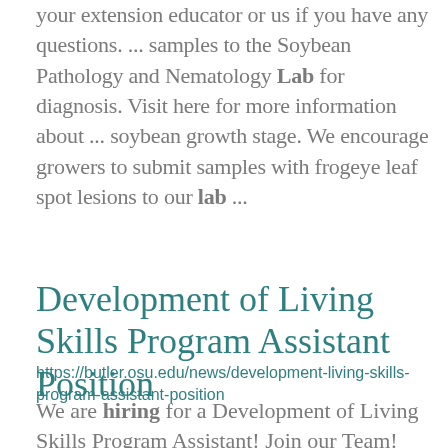your extension educator or us if you have any questions. ... samples to the Soybean Pathology and Nematology Lab for diagnosis. Visit here for more information about ... soybean growth stage. We encourage growers to submit samples with frogeye leaf spot lesions to our lab ...
Development of Living Skills Program Assistant Position
https://butler.osu.edu/news/development-living-skills-program-assistant-position
We are hiring for a Development of Living Skills Program Assistant! Join our Team! For more